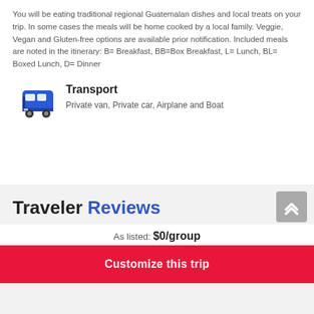You will be eating traditional regional Guatemalan dishes and local treats on your trip. In some cases the meals will be home cooked by a local family. Veggie, Vegan and Gluten-free options are available prior notification. Included meals are noted in the itinerary: B= Breakfast, BB=Box Breakfast, L= Lunch, BL= Boxed Lunch, D= Dinner
Transport
Private van, Private car, Airplane and Boat
Traveler Reviews
As listed: $0/group
Customize this trip